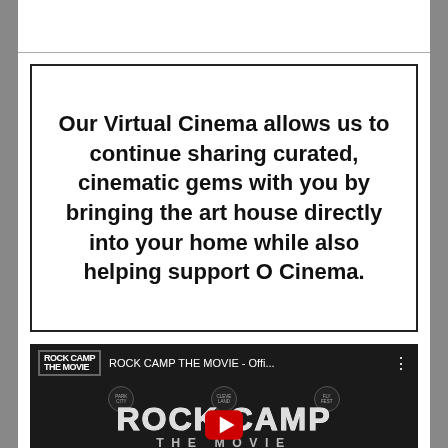Our Virtual Cinema allows us to continue sharing curated, cinematic gems with you by bringing the art house directly into your home while also helping support O Cinema.
[Figure (screenshot): YouTube video thumbnail for 'ROCK CAMP THE MOVIE - Offi...' showing the Rock Camp The Movie logo on a dark background with a YouTube play button overlay, and actor credits along the bottom including Alice Cooper, Roger Daltrey, Sammy Hagar, Judas Priest, Joe Perry.]